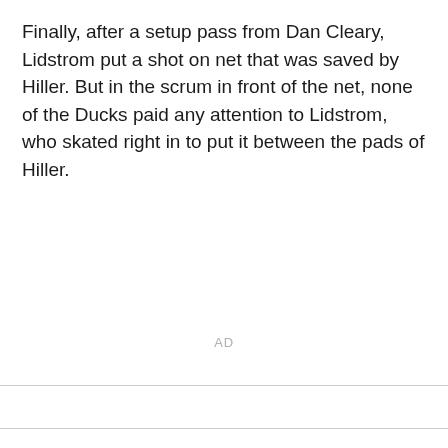Finally, after a setup pass from Dan Cleary, Lidstrom put a shot on net that was saved by Hiller. But in the scrum in front of the net, none of the Ducks paid any attention to Lidstrom, who skated right in to put it between the pads of Hiller.
AD
[logo] [twitter] [facebook]